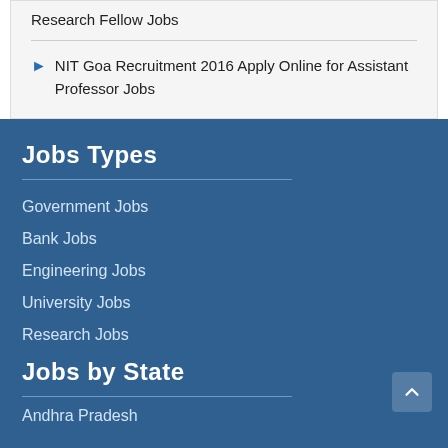Research Fellow Jobs
NIT Goa Recruitment 2016 Apply Online for Assistant Professor Jobs
Jobs Types
Government Jobs
Bank Jobs
Engineering Jobs
University Jobs
Research Jobs
Jobs by State
Andhra Pradesh